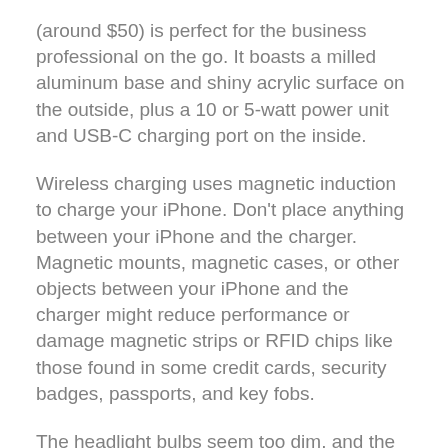(around $50) is perfect for the business professional on the go. It boasts a milled aluminum base and shiny acrylic surface on the outside, plus a 10 or 5-watt power unit and USB-C charging port on the inside.
Wireless charging uses magnetic induction to charge your iPhone. Don't place anything between your iPhone and the charger. Magnetic mounts, magnetic cases, or other objects between your iPhone and the charger might reduce performance or damage magnetic strips or RFID chips like those found in some credit cards, security badges, passports, and key fobs.
The headlight bulbs seem too dim, and the yellow color of the high and low beam do not match the bright white halo ring at all. I will be asking for a replacement recommendation for the bulbs high and low beam so that they match the more white output of the halo rings.
Installation was easy, and directions were t...